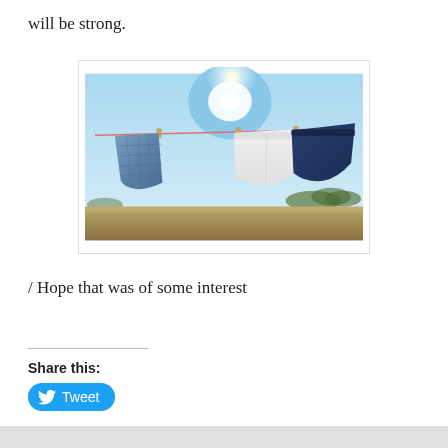will be strong.
[Figure (photo): Three pairs of underwear/shorts hanging on a clothesline outdoors under a bright sunny sky. From left to right: blue plaid boxer shorts, white briefs, and dark navy briefs, each clipped to a red/pink rope with wooden clothespins. Background shows dry grassland and trees under a hazy blue sky with the sun glowing brightly.]
/ Hope that was of some interest
Share this:
Tweet